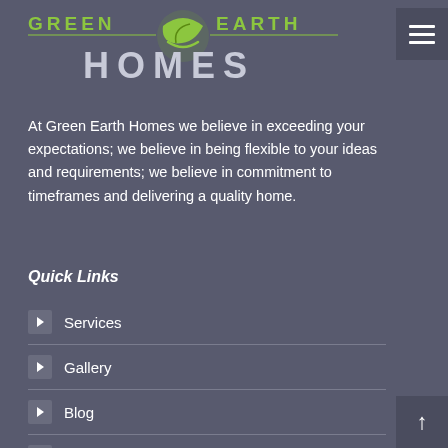[Figure (logo): Green Earth Homes logo with green leaf icon and silver/white text]
At Green Earth Homes we believe in exceeding your expectations; we believe in being flexible to your ideas and requirements; we believe in commitment to timeframes and delivering a quality home.
Quick Links
Services
Gallery
Blog
Sustainability